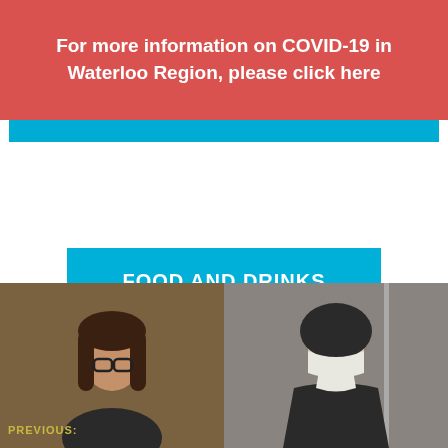For more information on COVID-19 in Waterloo Region, please click here
FOOD AND DRINKS
[Figure (photo): Bottom strip showing two people: left side shows a woman with glasses and brown hair against a warm background; right side shows a figure resembling a nun in habit against a cooler background. 'PREVIOUS:' text overlay in yellow-green.]